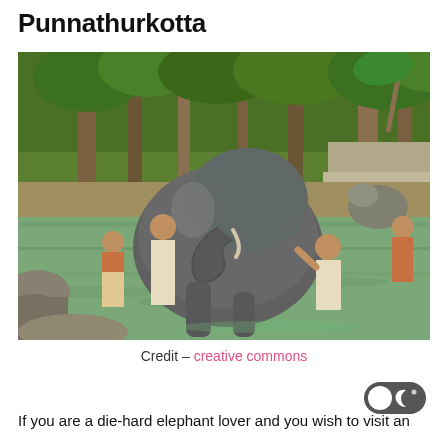Punnathurkotta
[Figure (photo): Mahouts bathing an elephant in a river at Punnathurkotta elephant sanctuary. A large elephant is lying in shallow green water while several shirtless men in white dhotis bathe and wash it. Green trees and other elephants are visible in the background.]
Credit – creative commons
If you are a die-hard elephant lover and you wish to visit an